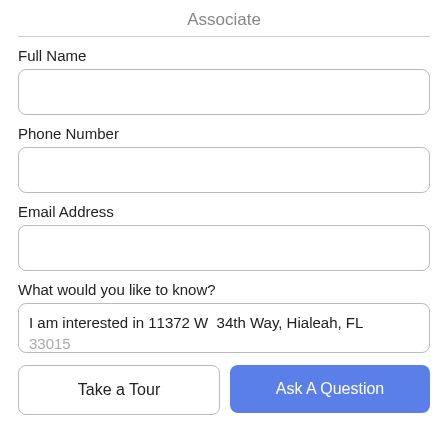Associate
Full Name
Phone Number
Email Address
What would you like to know?
I am interested in 11372 W  34th Way, Hialeah, FL 33015
Take a Tour
Ask A Question